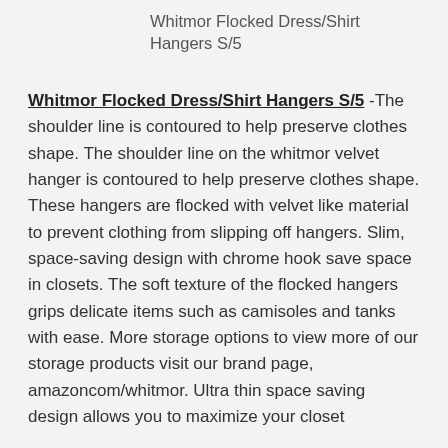Whitmor Flocked Dress/Shirt Hangers S/5
Whitmor Flocked Dress/Shirt Hangers S/5 -The shoulder line is contoured to help preserve clothes shape. The shoulder line on the whitmor velvet hanger is contoured to help preserve clothes shape. These hangers are flocked with velvet like material to prevent clothing from slipping off hangers. Slim, space-saving design with chrome hook save space in closets. The soft texture of the flocked hangers grips delicate items such as camisoles and tanks with ease. More storage options to view more of our storage products visit our brand page, amazoncom/whitmor. Ultra thin space saving design allows you to maximize your closet